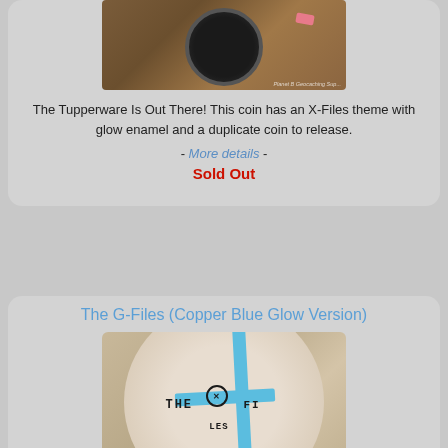[Figure (photo): Close-up photo of a dark geocaching coin with a watermark 'Planet B Geocaching Supplies']
The Tupperware Is Out There! This coin has an X-Files theme with glow enamel and a duplicate coin to release.
- More details -
Sold Out
The G-Files (Copper Blue Glow Version)
[Figure (photo): Photo of a round copper-colored geocoin with 'THE FILES' text and a blue glow cross design]